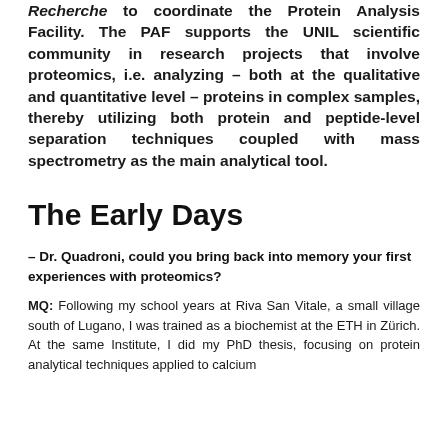Recherche to coordinate the Protein Analysis Facility. The PAF supports the UNIL scientific community in research projects that involve proteomics, i.e. analyzing – both at the qualitative and quantitative level – proteins in complex samples, thereby utilizing both protein and peptide-level separation techniques coupled with mass spectrometry as the main analytical tool.
The Early Days
– Dr. Quadroni, could you bring back into memory your first experiences with proteomics?
MQ: Following my school years at Riva San Vitale, a small village south of Lugano, I was trained as a biochemist at the ETH in Zürich. At the same Institute, I did my PhD thesis, focusing on protein analytical techniques applied to calcium